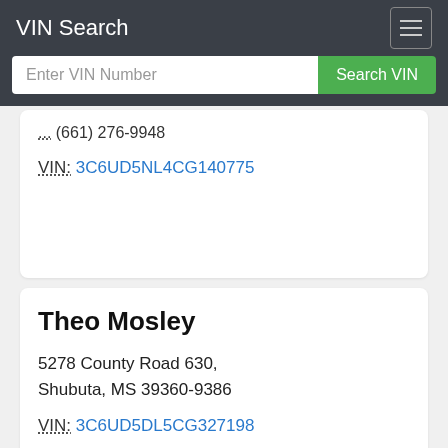VIN Search
Enter VIN Number | Search VIN
... (661) 276-9948
VIN: 3C6UD5NL4CG140775
Theo Mosley
5278 County Road 630, Shubuta, MS 39360-9386
VIN: 3C6UD5DL5CG327198